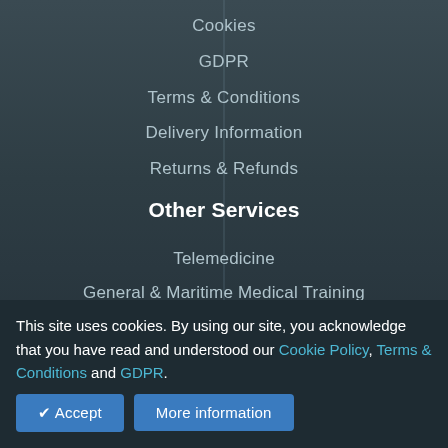Cookies
GDPR
Terms & Conditions
Delivery Information
Returns & Refunds
Other Services
Telemedicine
General & Maritime Medical Training
Diving Medical Advisory Committee
Vitabiotics Exports
Pharmaceuticals Exports Africa/Middle East
This site uses cookies. By using our site, you acknowledge that you have read and understood our Cookie Policy, Terms & Conditions and GDPR.
✔ Accept
More information